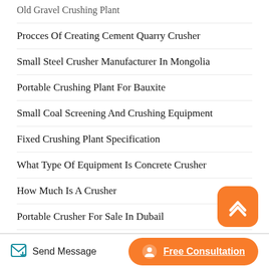Old Gravel Crushing Plant
Procces Of Creating Cement Quarry Crusher
Small Steel Crusher Manufacturer In Mongolia
Portable Crushing Plant For Bauxite
Small Coal Screening And Crushing Equipment
Fixed Crushing Plant Specification
What Type Of Equipment Is Concrete Crusher
How Much Is A Crusher
Portable Crusher For Sale In Dubail
250 300tph Complete Crushing Plant
Crushed Granite Crusher Purification
Send Message   Free Consultation